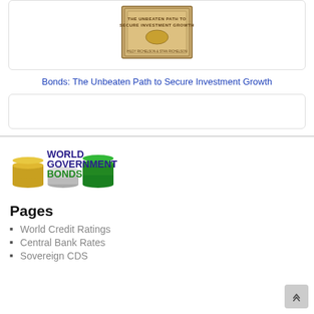[Figure (illustration): Book cover thumbnail for 'Bonds: The Unbeaten Path to Secure Investment Growth']
Bonds: The Unbeaten Path to Secure Investment Growth
[Figure (other): Empty card/placeholder box]
[Figure (logo): World Government Bonds logo with stacked coins graphic in gold, silver, and green colors]
Pages
World Credit Ratings
Central Bank Rates
Sovereign CDS